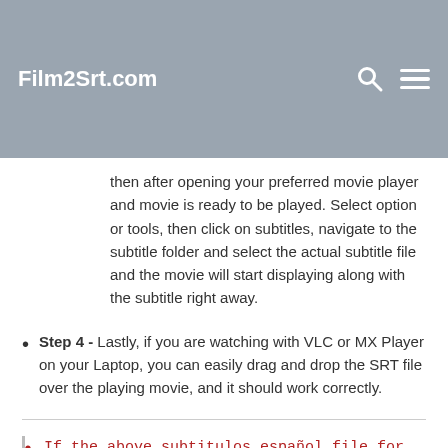Film2Srt.com
then after opening your preferred movie player and movie is ready to be played. Select option or tools, then click on subtitles, navigate to the subtitle folder and select the actual subtitle file and the movie will start displaying along with the subtitle right away.
Step 4 - Lastly, if you are watching with VLC or MX Player on your Laptop, you can easily drag and drop the SRT file over the playing movie, and it should work correctly.
If the above subtitulos español file for Girls5eva Season 1 is not working as expected